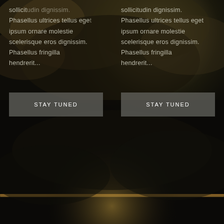[Figure (illustration): Dark dramatic cloudy sky background with a faint horizontal light streak near the bottom, rendered in dark brown and black tones.]
sollicitudin dignissim. Phasellus ultrices tellus eget ipsum ornare molestie scelerisque eros dignissim. Phasellus fringilla hendrerit...
sollicitudin dignissim. Phasellus ultrices tellus eget ipsum ornare molestie scelerisque eros dignissim. Phasellus fringilla hendrerit...
STAY TUNED
STAY TUNED